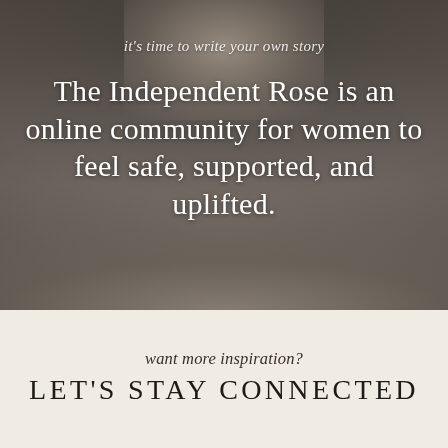[Figure (photo): Black and white photo of a woman holding tulips, face partially visible, moody grayscale tone]
it's time to write your own story
The Independent Rose is an online community for women to feel safe, supported, and uplifted.
LEARN MORE →
want more inspiration?
LET'S STAY CONNECTED